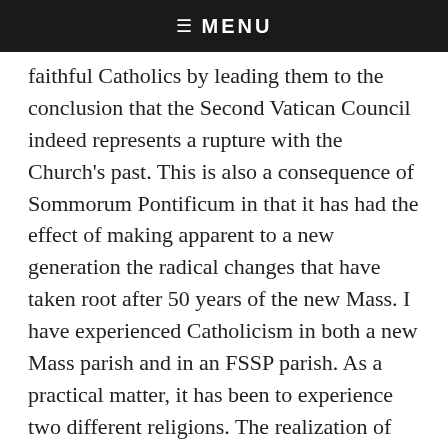☰  MENU
faithful Catholics by leading them to the conclusion that the Second Vatican Council indeed represents a rupture with the Church's past. This is also a consequence of Sommorum Pontificum in that it has had the effect of making apparent to a new generation the radical changes that have taken root after 50 years of the new Mass. I have experienced Catholicism in both a new Mass parish and in an FSSP parish. As a practical matter, it has been to experience two different religions. The realization of this is radicalizing. It also explains the hostility to the traditional Mass and what I recently have observed to be from the other side a growing hostility to the new Mass. To quote the Gospel through the words of Lincoln: A house divided against itself cannot stand. It must become all one thing or the other.
dbonneville says: